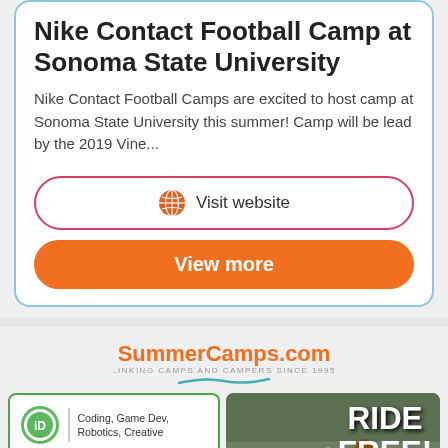Nike Contact Football Camp at Sonoma State University
Nike Contact Football Camps are excited to host camp at Sonoma State University this summer! Camp will be lead by the 2019 Vine...
Visit website
View more
[Figure (logo): SummerCamps.com logo with tagline LINKING CAMPS AND CAMPERS SINCE 1995 and a teal wave accent]
[Figure (screenshot): iD Tech ad: Coding, Game Dev, Robotics, Creative with FIND A COURSE green button]
[Figure (photo): Horse jumping photo with text RIDE FREE! EVERYDAY!]